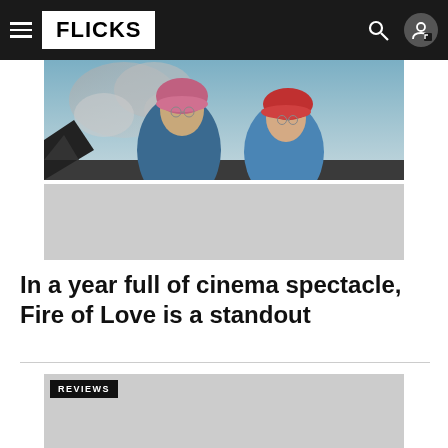FLICKS
[Figure (photo): Two people in winter/mountaineering gear (one in pink hat and blue jacket, one in red hat and blue jacket) with smoke or volcanic cloud behind them. Below the photo is a gray placeholder area.]
In a year full of cinema spectacle, Fire of Love is a standout
REVIEWS